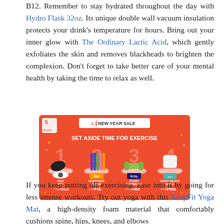B12. Remember to stay hydrated throughout the day with Hydro Flask 32oz. Its unique double wall vacuum insulation protects your drink's temperature for hours. Bring out your inner glow with The Ordinary Lactic Acid, which gently exfoliates the skin and removes blackheads to brighten the complexion. Don't forget to take better care of your mental health by taking the time to relax as well.
[Figure (infographic): Shopee 1.1 New Year Sale ad: Set Aside Time for Exercise. Shows 4 exercise products: 1. Yoga Mat (P119, original P500), 2. Resistance Bands (P19, original P119), 3. Studio Dumbbells (P504, original P672), 4. Smart Weight Scale (P598, original P2,600)]
If you keep putting off exercising, ease into it by going for less intense workouts. Try out yoga with this KeepFit Yoga Mat, a high-density foam material that comfortably cushions spine, hips, knees, and elbows